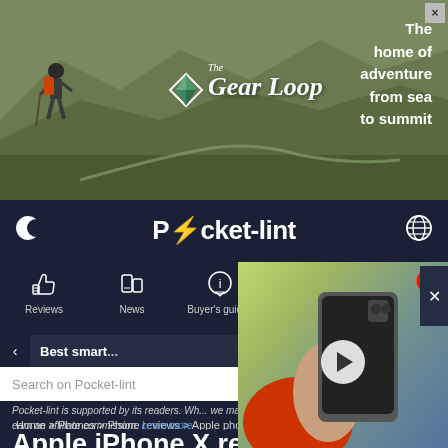[Figure (photo): Advertisement banner for The Gear Loop showing a hiker in a mountain landscape with text 'The home of adventure from sea to summit']
Pocket-lint
[Figure (screenshot): Navigation bar with moon icon, Pocket-lint logo, globe icon, and navigation items: Reviews, News, Buyer's guides, Deals, Sections]
Best smart...
[Figure (photo): Video thumbnail showing a hand holding a smartphone with a play button overlay]
Search on Pocket-lint
Pocket-lint is supported by its readers. Wh... we may earn an affiliate commission. Learn more
Home > Phones > Phone reviews > Apple phone reviews
Apple iPhone X review: The first